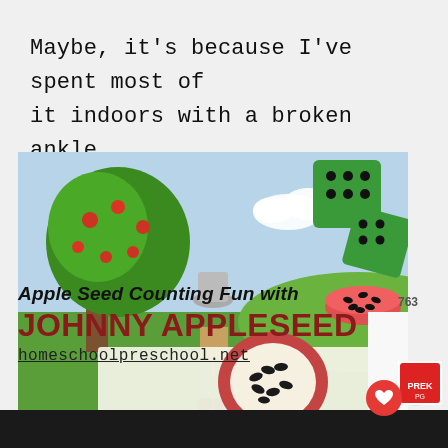Maybe, it's because I've spent most of it indoors with a broken ankle.
[Figure (photo): Educational activity photo showing a Johnny Appleseed themed apple seed counting game mat with an illustration of Johnny Appleseed figure near an apple tree, a cross-section of an apple with black seeds on it, two green foam dice, and a small bowl of black beans/seeds on a white surface.]
Apple Seed Counting Fun with JOHNNY APPLESEED
homeschoolpreschool.net